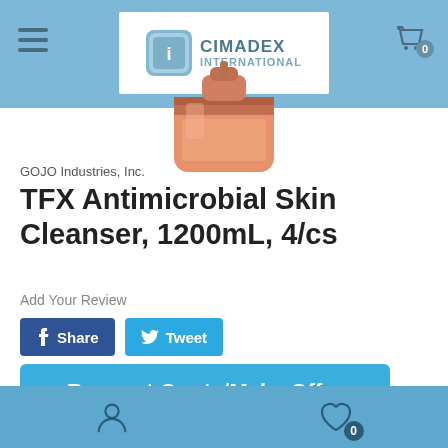CIMADEX INTERNATIONAL
[Figure (photo): Product image of GOJO TFX Antimicrobial Skin Cleanser bottle, orange/salmon colored dispenser]
GOJO Industries, Inc.
TFX Antimicrobial Skin Cleanser, 1200mL, 4/cs
Add Your Review
Share
Tweet
Request Quote/Make Offer
Wishlist
0